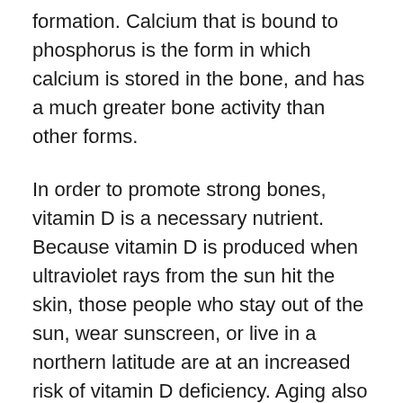formation. Calcium that is bound to phosphorus is the form in which calcium is stored in the bone, and has a much greater bone activity than other forms.
In order to promote strong bones, vitamin D is a necessary nutrient. Because vitamin D is produced when ultraviolet rays from the sun hit the skin, those people who stay out of the sun, wear sunscreen, or live in a northern latitude are at an increased risk of vitamin D deficiency. Aging also decreases a person's ability to produce vitamin D in the skin. Supplementation with 700-800 IU of vitamin D per day has been proven to decrease the number of hip fractures by 26%. However, 400 IU per day was ineffective. In addition to improving bone health, vitamin D improves nerve and muscle function in older people, which reduces their risk of falling. At 300 IU of vitamin D per day, the